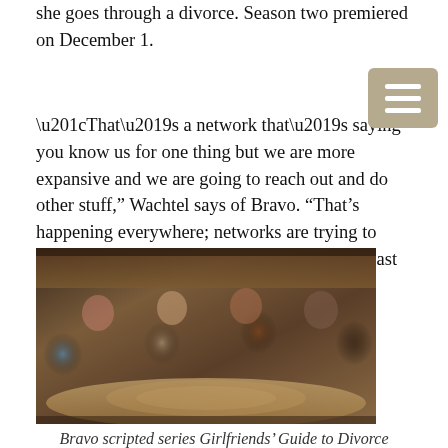she goes through a divorce. Season two premiered on December 1.
“That’s a network that’s saying you know us for one thing but we are more expansive and we are going to reach out and do other stuff,” Wachtel says of Bravo. “That’s happening everywhere; networks are trying to establish themselves or show they can reach past the expected.”
[Figure (photo): Four women lying on the floor looking up at the camera, a scene from Bravo scripted series Girlfriends' Guide to Divorce]
Bravo scripted series Girlfriends’ Guide to Divorce
Wachtel, who has a joint role as president of NBCU studio